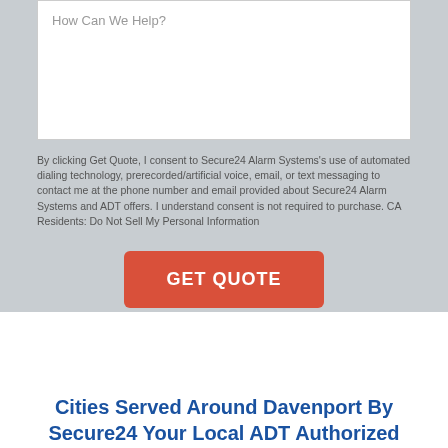How Can We Help?
By clicking Get Quote, I consent to Secure24 Alarm Systems's use of automated dialing technology, prerecorded/artificial voice, email, or text messaging to contact me at the phone number and email provided about Secure24 Alarm Systems and ADT offers. I understand consent is not required to purchase. CA Residents: Do Not Sell My Personal Information
GET QUOTE
Cities Served Around Davenport By Secure24 Your Local ADT Authorized